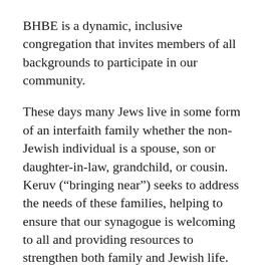BHBE is a dynamic, inclusive congregation that invites members of all backgrounds to participate in our community.
These days many Jews live in some form of an interfaith family whether the non-Jewish individual is a spouse, son or daughter-in-law, grandchild, or cousin. Keruv (“bringing near”) seeks to address the needs of these families, helping to ensure that our synagogue is welcoming to all and providing resources to strengthen both family and Jewish life.
If you are an interfaith couple or someone whose life has been touched by an interfaith